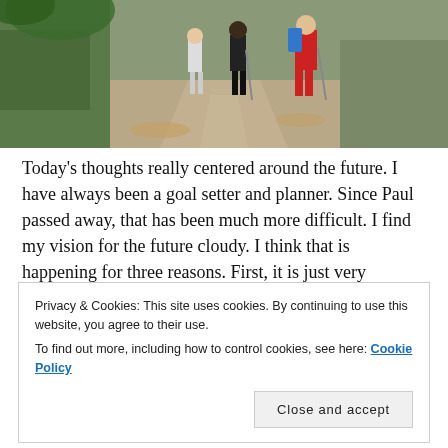[Figure (photo): Three hikers walking along a forest trail, one wearing a red jacket with a blue backpack, trees and fallen leaves visible]
Today's thoughts really centered around the future. I have always been a goal setter and planner. Since Paul passed away, that has been much more difficult. I find my vision for the future cloudy. I think that is happening for three reasons. First, it is just very difficult for me to imagine or envision myself doing
Privacy & Cookies: This site uses cookies. By continuing to use this website, you agree to their use.
To find out more, including how to control cookies, see here: Cookie Policy
hard habit to break, my friends. Second, I mainly am